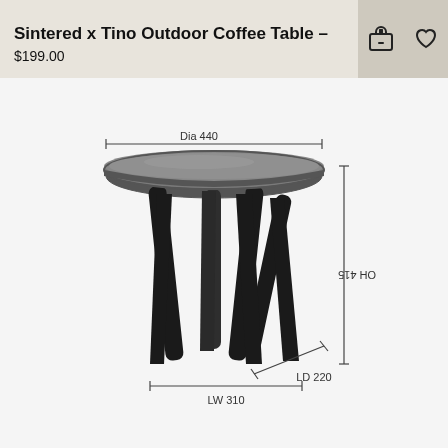Sintered x Tino Outdoor Coffee Table –
$199.00
[Figure (engineering-diagram): Technical dimension drawing of a round outdoor coffee table with three legs. Shows dimensions: Dia 440 (diameter of top), OH 415 (overall height), LW 310 (leg width), LD 220 (leg depth).]